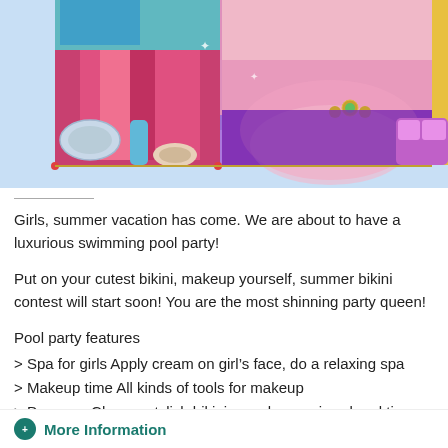[Figure (screenshot): Colorful mobile game screenshot showing pool party / dress-up game graphics with makeup items, bikini-clad figures, purple backgrounds, and game UI icons]
Girls, summer vacation has come. We are about to have a luxurious swimming pool party!
Put on your cutest bikini, makeup yourself, summer bikini contest will start soon! You are the most shinning party queen!
Pool party features
> Spa for girls Apply cream on girl’s face, do a relaxing spa
> Makeup time All kinds of tools for makeup
> Dress up Choose stylish bikini, sunglasses, jewel and tiara
> Fashion Accessories Beautiful handbag, shoes, earring and
More Information